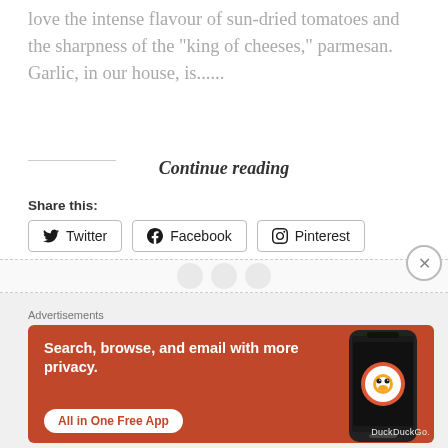love the intense flavour of sun-dried tomatoes and the sharpness of the “king of cheeses,” parmesan. Garlic, in our house, is......
Continue reading
Share this:
Twitter   Facebook   Pinterest
Like this:
Loading...
[Figure (screenshot): DuckDuckGo advertisement banner with orange background. Text reads: Search, browse, and email with more privacy. All in One Free App. Shows a phone with DuckDuckGo app icon.]
Advertisements